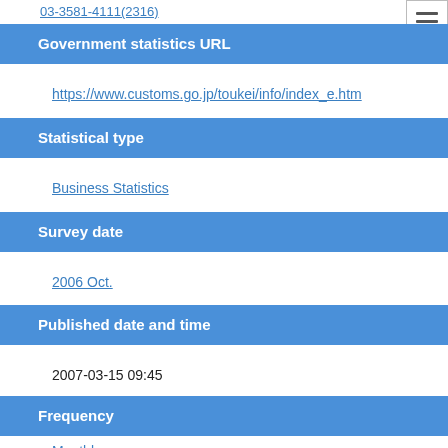03-3581-4111(2316)
Government statistics URL
https://www.customs.go.jp/toukei/info/index_e.htm
Statistical type
Business Statistics
Survey date
2006 Oct.
Published date and time
2007-03-15 09:45
Frequency
Monthly
Tabulation area